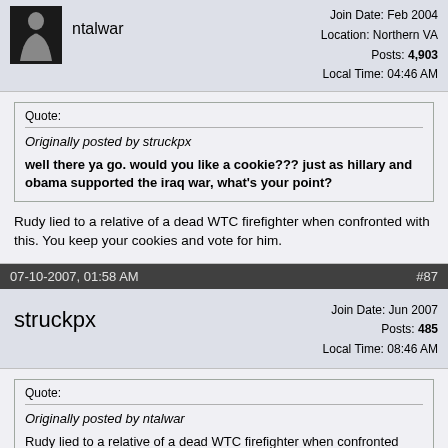ntalwar — Join Date: Feb 2004, Location: Northern VA, Posts: 4,903, Local Time: 04:46 AM
Quote: Originally posted by struckpx
well there ya go. would you like a cookie??? just as hillary and obama supported the iraq war, what's your point?
Rudy lied to a relative of a dead WTC firefighter when confronted with this. You keep your cookies and vote for him.
07-10-2007, 01:58 AM   #87
struckpx — Join Date: Jun 2007, Posts: 485, Local Time: 08:46 AM
Quote: Originally posted by ntalwar
Rudy lied to a relative of a dead WTC firefighter when confronted with